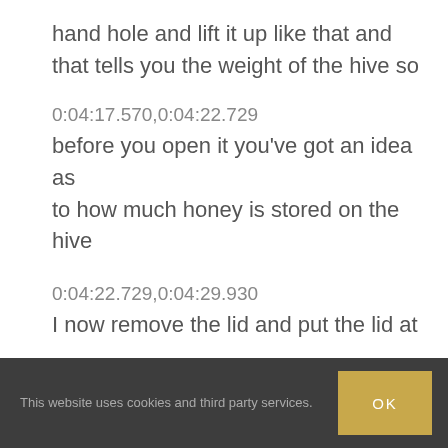hand hole and lift it up like that and that tells you the weight of the hive so
0:04:17.570,0:04:22.729
before you open it you've got an idea as to how much honey is stored on the hive
0:04:22.729,0:04:29.930
I now remove the lid and put the lid at
This website uses cookies and third party services.
OK